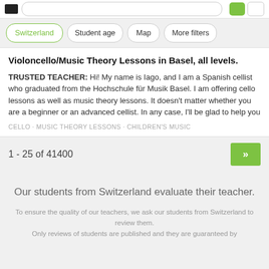Switzerland · Student age · Map · More filters
Violoncello/Music Theory Lessons in Basel, all levels.
TRUSTED TEACHER: Hi! My name is Iago, and I am a Spanish cellist who graduated from the Hochschule für Musik Basel. I am offering cello lessons as well as music theory lessons. It doesn't matter whether you are a beginner or an advanced cellist. In any case, I'll be glad to help you
CELLO · MUSIC THEORY LESSONS · CHILDREN'S MUSIC
1 - 25 of 41400
Our students from Switzerland evaluate their teacher.
To ensure the quality of our teachers, we ask our students from Switzerland to review them. Only reviews of students are published and they are guaranteed by